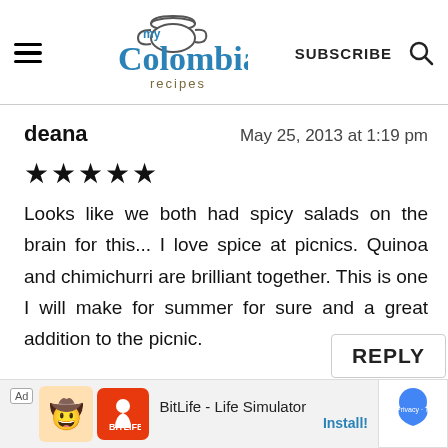[Figure (logo): My Colombian Recipes logo with teapot icon, blue and brown text]
deana    May 25, 2013 at 1:19 pm
★★★★★
Looks like we both had spicy salads on the brain for this... I love spice at picnics. Quinoa and chimichurri are brilliant together. This is one I will make for summer for sure and a great addition to the picnic.
REPLY
Ad  BitLife - Life Simulator  Install!